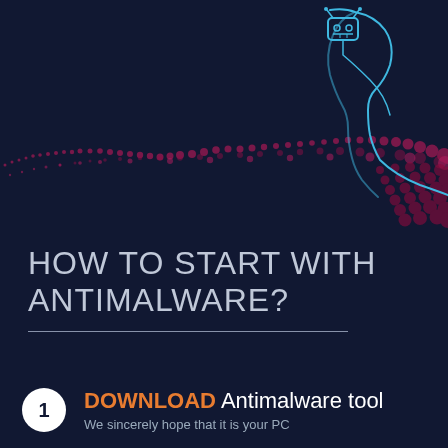[Figure (illustration): Dark navy background with decorative wavy lines in magenta/pink dots and a cyan/blue outline of a human head profile with a robot/circuit icon on top right, suggesting cybersecurity or AI theme]
HOW TO START WITH ANTIMALWARE?
1 DOWNLOAD Antimalware tool